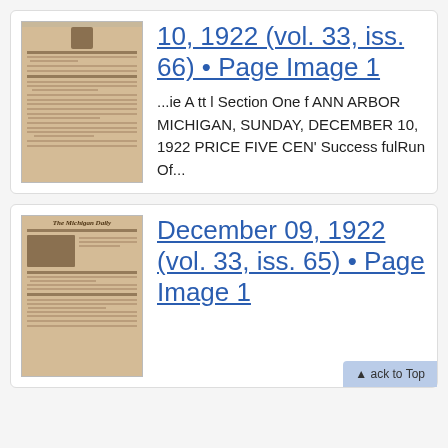[Figure (photo): Thumbnail of The Michigan Daily newspaper front page, December 10 1922, aged yellowed paper]
10, 1922 (vol. 33, iss. 66) • Page Image 1
...ie A tt l Section One f ANN ARBOR MICHIGAN, SUNDAY, DECEMBER 10, 1922 PRICE FIVE CEN' Success fulRun Of...
[Figure (photo): Thumbnail of The Michigan Daily newspaper front page, December 09 1922, aged yellowed paper]
December 09, 1922 (vol. 33, iss. 65) • Page Image 1